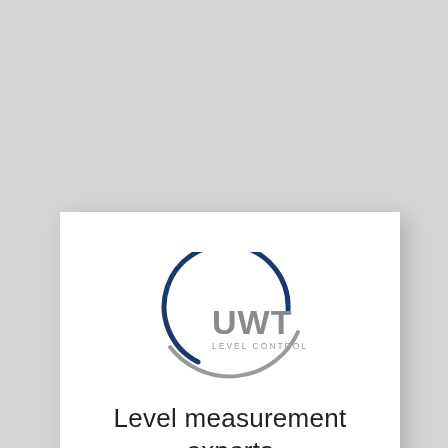[Figure (logo): UWT Level Control logo: a dark blue crescent arc with a grey lower arc, and the text 'UWT' in large grey letters with 'LEVEL CONTROL' in small grey letters beneath]
Level measurement experts